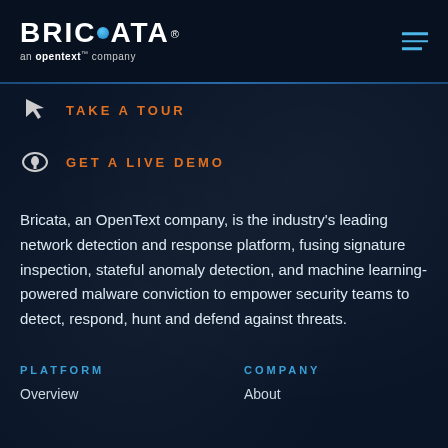[Figure (logo): Bricata logo with blue dot in the 'O', 'an opentext company' tagline below, on dark navy background]
TAKE A TOUR
GET A LIVE DEMO
Bricata, an OpenText company, is the industry's leading network detection and response platform, fusing signature inspection, stateful anomaly detection, and machine learning-powered malware conviction to empower security teams to detect, respond, hunt and defend against threats.
PLATFORM
COMPANY
Overview
About